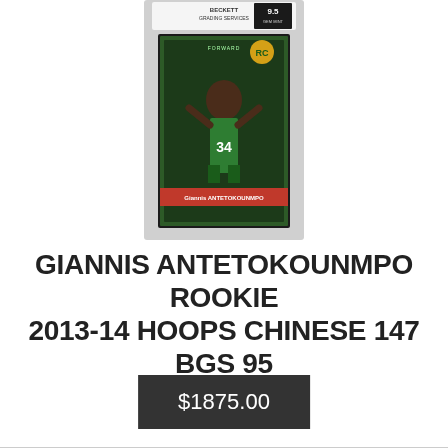[Figure (photo): Giannis Antetokounmpo 2013-14 Hoops Chinese rookie card #147 in a BGS graded slab. The card shows Giannis in a Milwaukee Bucks #34 green jersey with arms raised, red name bar at bottom reading 'Giannis ANTETOKOUNMPO', RC badge in upper right corner.]
GIANNIS ANTETOKOUNMPO ROOKIE 2013-14 HOOPS CHINESE 147 BGS 95 95 95 95 10
$1875.00